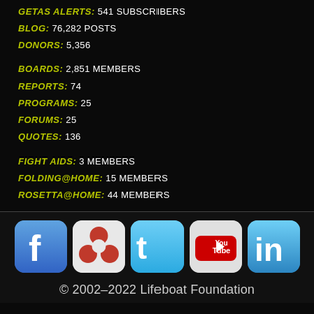GETAS ALERTS: 541 SUBSCRIBERS
BLOG: 76,282 POSTS
DONORS: 5,356
BOARDS: 2,851 MEMBERS
REPORTS: 74
PROGRAMS: 25
FORUMS: 25
QUOTES: 136
FIGHT AIDS: 3 MEMBERS
FOLDING@HOME: 15 MEMBERS
ROSETTA@HOME: 44 MEMBERS
[Figure (other): Social media icons: Facebook, Trefoil/Blossom, Twitter, YouTube, LinkedIn]
© 2002–2022 Lifeboat Foundation